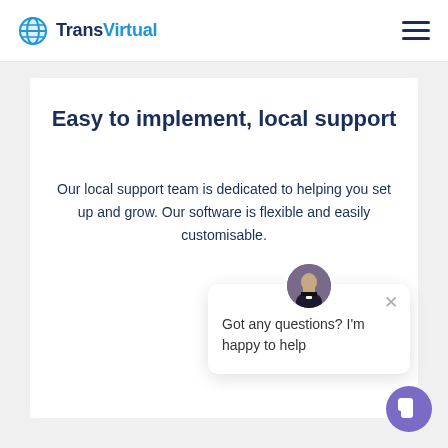TransVirtual
Easy to implement, local support
Our local support team is dedicated to helping you set up and grow. Our software is flexible and easily customisable.
[Figure (screenshot): Chat popup widget with avatar photo of a man in a tuxedo, close button, and text 'Got any questions? I'm happy to help']
[Figure (illustration): Purple circular chat button in bottom right corner]